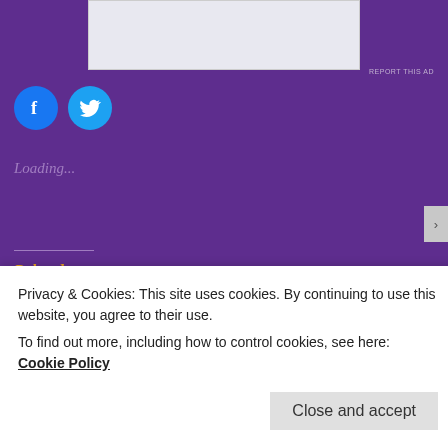[Figure (other): Advertisement banner area (partial, top of image), gray/light background with app promotion content]
REPORT THIS AD
[Figure (other): Facebook and Twitter social share icon circles (blue)]
Loading...
Related
An Uphill Climb
August 30, 2017
#611 – Crash & Burn/Phoenix
Privacy & Cookies: This site uses cookies. By continuing to use this website, you agree to their use. To find out more, including how to control cookies, see here: Cookie Policy